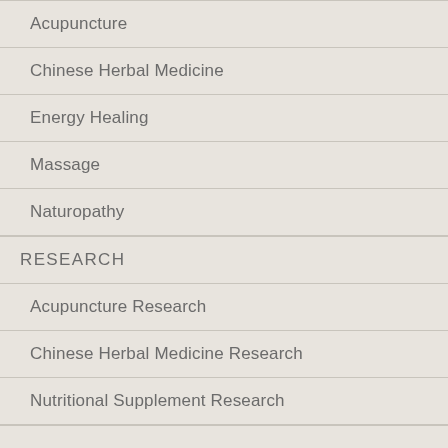Acupuncture
Chinese Herbal Medicine
Energy Healing
Massage
Naturopathy
RESEARCH
Acupuncture Research
Chinese Herbal Medicine Research
Nutritional Supplement Research